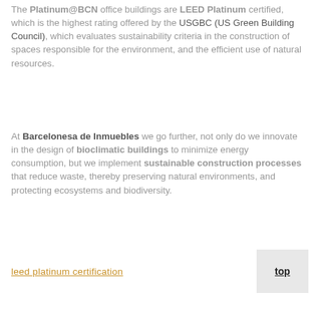The Platinum@BCN office buildings are LEED Platinum certified, which is the highest rating offered by the USGBC (US Green Building Council), which evaluates sustainability criteria in the construction of spaces responsible for the environment, and the efficient use of natural resources.
At Barcelonesa de Inmuebles we go further, not only do we innovate in the design of bioclimatic buildings to minimize energy consumption, but we implement sustainable construction processes that reduce waste, thereby preserving natural environments, and protecting ecosystems and biodiversity.
leed platinum certification